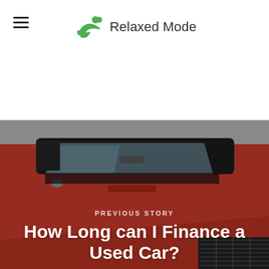Relaxed Mode
[Figure (photo): Vintage red classic car with dark roof, front view showing windshield, hood, and chrome grille details against a gray background]
PREVIOUS STORY
How Long can I Finance a Used Car?